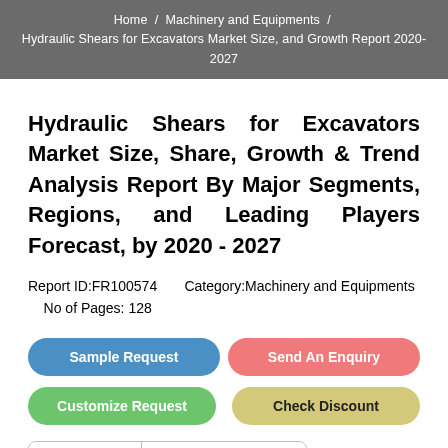Home / Machinery and Equipments / Hydraulic Shears for Excavators Market Size, and Growth Report 2020-2027
Hydraulic Shears for Excavators Market Size, Share, Growth & Trend Analysis Report By Major Segments, Regions, and Leading Players Forecast, by 2020 - 2027
Report ID:FR100574      Category:Machinery and Equipments      No of Pages: 128
[Figure (other): Four action buttons: Sample Request (blue), Send An Enquiry (red/salmon), Customize Request (green), Check Discount (yellow)]
Summary    Table Of Contents